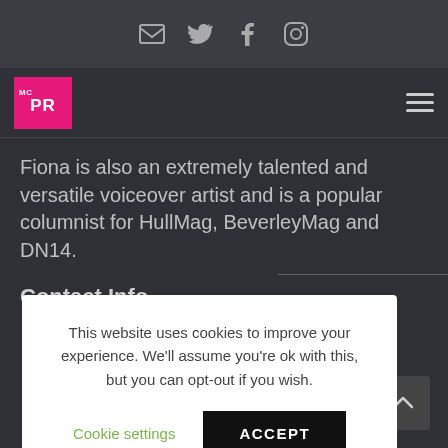Social icons: email, twitter, facebook, instagram
[Figure (logo): MCPR logo — pink square with white text]
Fiona is also an extremely talented and versatile voiceover artist and is a popular columnist for HullMag, BeverleyMag and DN14.
Contact Info
This website uses cookies to improve your experience. We'll assume you're ok with this, but you can opt-out if you wish. Cookie settings | ACCEPT